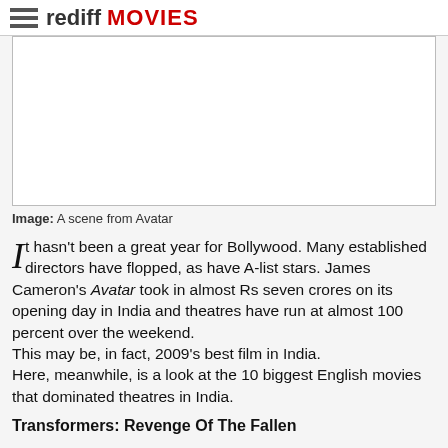rediff MOVIES
[Figure (photo): A blank/white image placeholder representing a scene from Avatar]
Image: A scene from Avatar
It hasn't been a great year for Bollywood. Many established directors have flopped, as have A-list stars. James Cameron's Avatar took in almost Rs seven crores on its opening day in India and theatres have run at almost 100 percent over the weekend.
This may be, in fact, 2009's best film in India.
Here, meanwhile, is a look at the 10 biggest English movies that dominated theatres in India.
Transformers: Revenge Of The Fallen